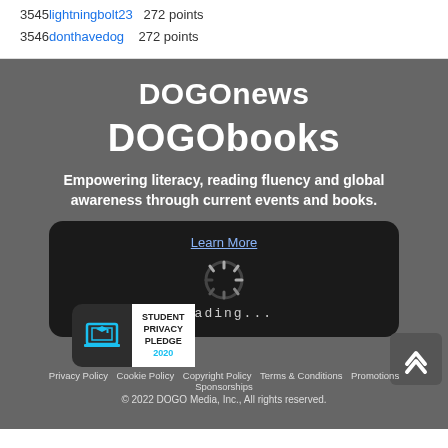3545 lightningbolt23  272 points
3546 donthavedog  272 points
DOGOnews
DOGObooks
Empowering literacy, reading fluency and global awareness through current events and books.
[Figure (screenshot): Dark rounded loading box with 'Learn More' link, spinning loader icon, and 'Loading...' text in monospaced style]
[Figure (logo): Student Privacy Pledge 2020 badge with laptop icon in cyan and white background]
Privacy Policy  Cookie Policy  Copyright Policy  Terms & Conditions  Promotions  Sponsorships
© 2022 DOGO Media, Inc., All rights reserved.